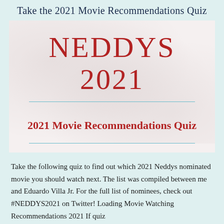Take the 2021 Movie Recommendations Quiz
NEDDYS 2021
2021 Movie Recommendations Quiz
Take the following quiz to find out which 2021 Neddys nominated movie you should watch next. The list was compiled between me and Eduardo Villa Jr. For the full list of nominees, check out #NEDDYS2021 on Twitter! Loading Movie Watching Recommendations 2021 If quiz